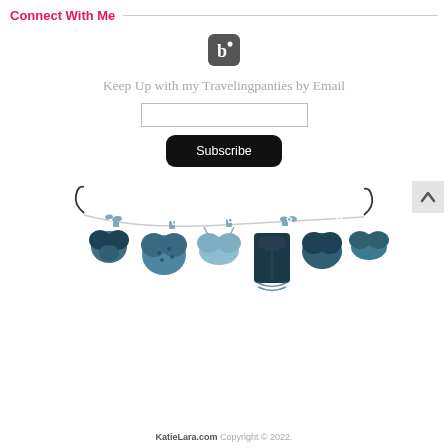Connect With Me
[Figure (logo): Bloglovin icon — dark rounded square with a stylized 'b' letter and small heart]
Keep Up with my Travelingpanties by Email
[Figure (illustration): Email subscription input box (empty text field)]
[Figure (illustration): Subscribe button — black rounded rectangle with white text 'Subscribe']
[Figure (illustration): Decorative illustration of lingerie items (bras, panties, corset) hanging on a clothesline with bows and clips, in teal and navy blue tones]
KatieLara.com Copyright © 2022.